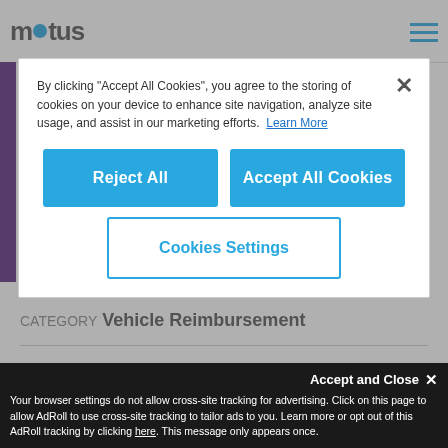[Figure (logo): Motus logo with blue dot in the word]
By clicking "Accept All Cookies", you agree to the storing of cookies on your device to enhance site navigation, analyze site usage, and assist in our marketing efforts. Learn More
Reject All
Accept All Cookies
Cookies Settings
CATEGORY Vehicle Reimbursement
Hybrid Vehicle Programs
101
Accept and Close ✕
Your browser settings do not allow cross-site tracking for advertising. Click on this page to allow AdRoll to use cross-site tracking to tailor ads to you. Learn more or opt out of this AdRoll tracking by clicking here. This message only appears once.